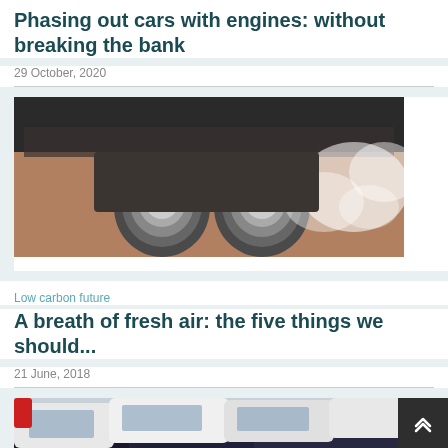Phasing out cars with engines: without breaking the bank
29 October, 2020
[Figure (photo): Close-up photo of a car exhaust pipe emitting white smoke/fumes]
Low carbon future
A breath of fresh air: the five things we should...
21 June, 2018
[Figure (photo): Photo of multiple cars parked in a lot, viewed from above at an angle, mix of white and dark colored vehicles]